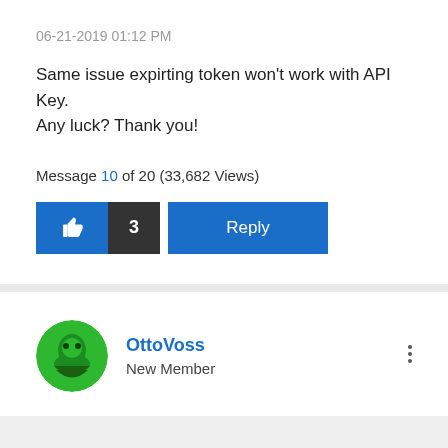06-21-2019 01:12 PM
Same issue expirting token won't work with API Key. Any luck? Thank you!
Message 10 of 20 (33,682 Views)
[Figure (infographic): Like button with thumbs up icon, count of 3, and Reply button]
[Figure (illustration): User avatar - circular green icon with decorative design]
OttoVoss
New Member